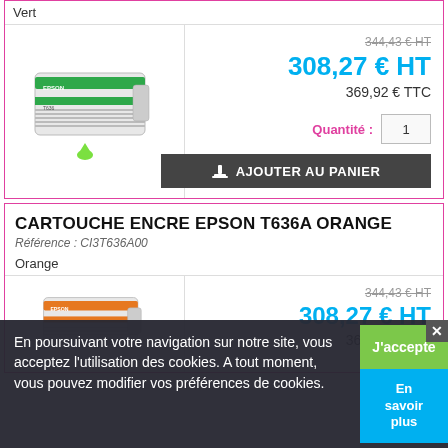Vert
[Figure (photo): Epson green ink cartridge with a green ink drop below it]
344,43 € HT (strikethrough)
308.27 € HT
369,92 € TTC
Quantité : 1
AJOUTER AU PANIER
CARTOUCHE ENCRE EPSON T636A ORANGE
Référence : CI3T636A00
Orange
344,43 € HT (strikethrough)
308.27 € HT
369,92 € TTC
En poursuivant votre navigation sur notre site, vous acceptez l'utilisation des cookies. A tout moment, vous pouvez modifier vos préférences de cookies.